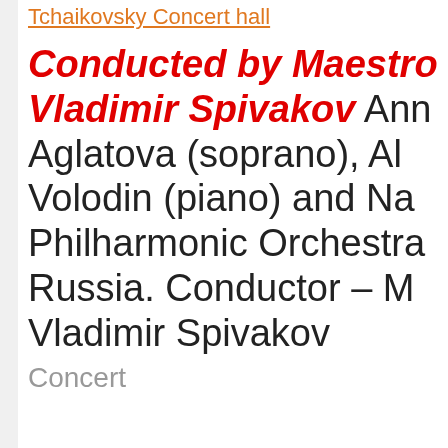Tchaikovsky Concert hall
Conducted by Maestro Vladimir Spivakov Anna Aglatova (soprano), Alexei Volodin (piano) and National Philharmonic Orchestra of Russia. Conductor – Maestro Vladimir Spivakov
Concert